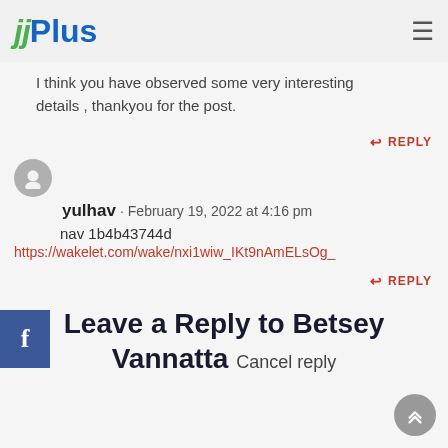jjPlus
I think you have observed some very interesting details , thankyou for the post.
REPLY
yulhav · February 19, 2022 at 4:16 pm
yulhav 1b4b43744d
https://wakelet.com/wake/nxi1wiw_IKt9nAmELsOg_
REPLY
Leave a Reply to Betsey Vannatta Cancel reply